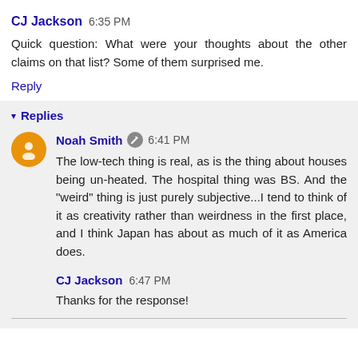CJ Jackson 6:35 PM
Quick question: What were your thoughts about the other claims on that list? Some of them surprised me.
Reply
▾ Replies
Noah Smith 🖊 6:41 PM
The low-tech thing is real, as is the thing about houses being un-heated. The hospital thing was BS. And the "weird" thing is just purely subjective...I tend to think of it as creativity rather than weirdness in the first place, and I think Japan has about as much of it as America does.
CJ Jackson 6:47 PM
Thanks for the response!